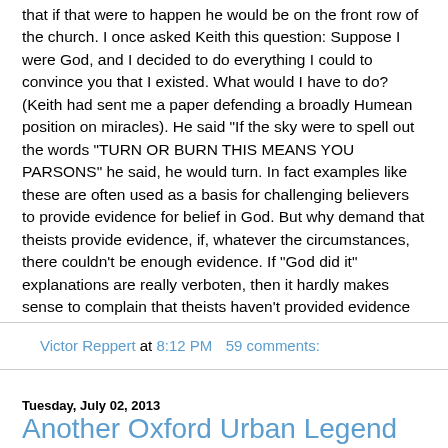that if that were to happen he would be on the front row of the church. I once asked Keith this question: Suppose I were God, and I decided to do everything I could to convince you that I existed. What would I have to do? (Keith had sent me a paper defending a broadly Humean position on miracles). He said "If the sky were to spell out the words "TURN OR BURN THIS MEANS YOU PARSONS" he said, he would turn. In fact examples like these are often used as a basis for challenging believers to provide evidence for belief in God. But why demand that theists provide evidence, if, whatever the circumstances, there couldn't be enough evidence. If "God did it" explanations are really verboten, then it hardly makes sense to complain that theists haven't provided evidence for their position. By definition, that's the one thing they can't do.
Victor Reppert at 8:12 PM   59 comments:
Tuesday, July 02, 2013
Another Oxford Urban Legend Debunked